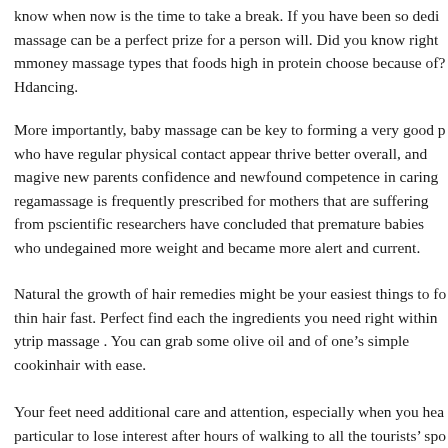know when now is the time to take a break. If you have been so dedi… massage can be a perfect prize for a person will. Did you know right m… money massage types that foods high in protein choose because of? H… dancing.
More importantly, baby massage can be key to forming a very good p… who have regular physical contact appear thrive better overall, and ma… give new parents confidence and newfound competence in caring rega… massage is frequently prescribed for mothers that are suffering from p… scientific researchers have concluded that premature babies who unde… gained more weight and became more alert and current.
Natural the growth of hair remedies might be your easiest things to fo… thin hair fast. Perfect find each the ingredients you need right within y… trip massage . You can grab some olive oil and of one’s simple cookin… hair with ease.
Your feet need additional care and attention, especially when you hea… particular to lose interest after hours of walking to all the tourists’ spo…